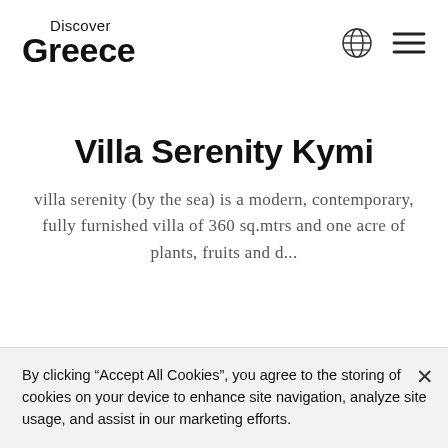Discover Greece
Villa Serenity Kymi
villa serenity (by the sea) is a modern, contemporary, fully furnished villa of 360 sq.mtrs and one acre of plants, fruits and d...
By clicking “Accept All Cookies”, you agree to the storing of cookies on your device to enhance site navigation, analyze site usage, and assist in our marketing efforts.